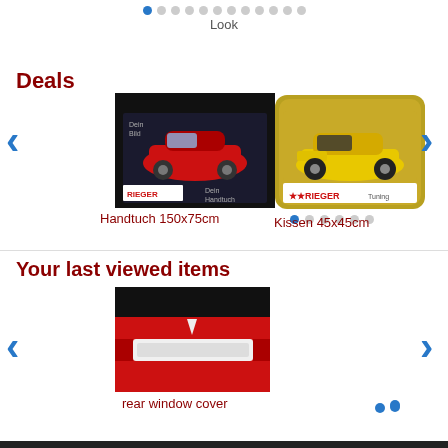Look
Deals
[Figure (photo): Red sports car on dark background — Handtuch (towel) product with Rieger branding]
Handtuch 150x75cm
[Figure (photo): Yellow racing car on pillow — Kissen product with Rieger branding]
Kissen 45x45cm
Your last viewed items
[Figure (photo): Red car rear window cover detail on black background]
rear window cover